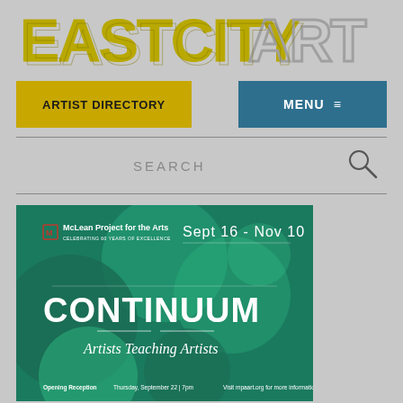[Figure (logo): EastCityArt logo in large blocky yellow-outlined and gray-outlined letters on gray background]
ARTIST DIRECTORY
MENU ≡
SEARCH
[Figure (illustration): McLean Project for the Arts exhibition poster for CONTINUUM - Artists Teaching Artists, Sept 16 - Nov 10. Teal/green background with overlapping translucent circles. Bottom text: Opening Reception Thursday September 22 | 7pm. Visit mpaart.org for more information.]